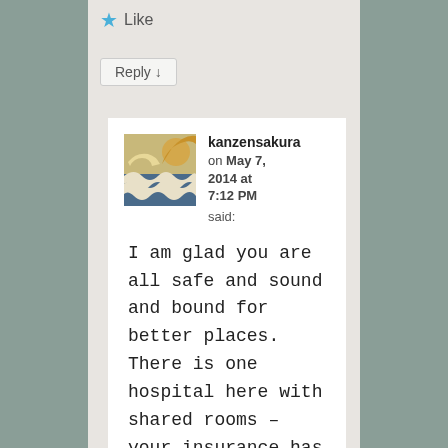★ Like
Reply ↓
kanzensakura on May 7, 2014 at 7:12 PM said:
I am glad you are all safe and sound and bound for better places. There is one hospital here with shared rooms – your insurance has to cover the private room rates. It is a